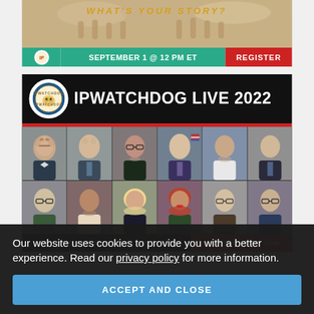[Figure (infographic): Top banner showing IPWatchdog event promo with 'WHAT'S YOUR STORY?' text, date September 1 @ 12 PM ET in green, and REGISTER button in red]
[Figure (infographic): IPWatchdog Live 2022 event promotional banner with logo, event title, grid of 12 speaker headshots, date September 11-13 2022, and GET YOUR TICKET NOW CTA]
Our website uses cookies to provide you with a better experience. Read our privacy policy for more information.
ACCEPT AND CLOSE